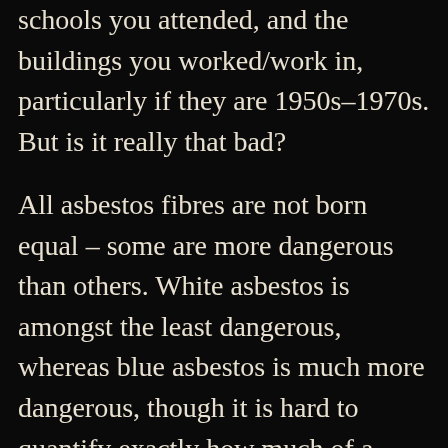schools you attended, and the buildings you worked/work in, particularly if they are 1950s–1970s. But is it really that bad?
All asbestos fibres are not born equal – some are more dangerous than others. White asbestos is amongst the least dangerous, whereas blue asbestos is much more dangerous, though it is hard to quantify exactly how much of a health hazard the fibres are. The biggest fears around asbestos exposure are lung cancer, and mesothelioma, which is a cancer of the covering and sac around the lungs. Some